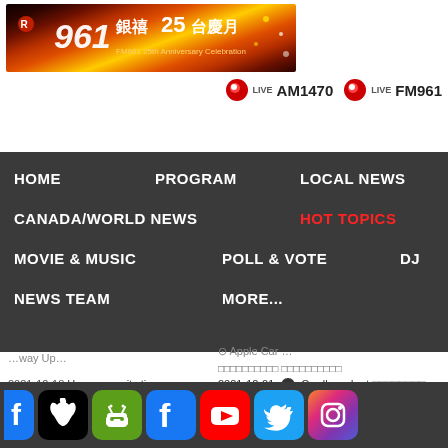[Figure (illustration): FM961 25th Anniversary Celebration banner with Chinese text 銀禧25台慶月 and radio station branding]
[Figure (illustration): Live radio stream buttons: LIVE AM1470 and LIVE FM961 with red circular icons]
HOME
PROGRAM
LOCAL NEWS
CANADA/WORLD NEWS
HOT TOPICS
MOVIE & MUSIC
POLL & VOTE
DJ
NEWS TEAM
MORE...
2021-12-18  Home security tips 家居保安小貼士
2021-12-17  J. sweets 8 週年慶生 Facebook 直播
2021-12-01  Cardboard art 紙皮藝術
[Figure (illustration): App store icons: Facebook (partial), Apple, Android, Facebook, YouTube, Twitter, Instagram]